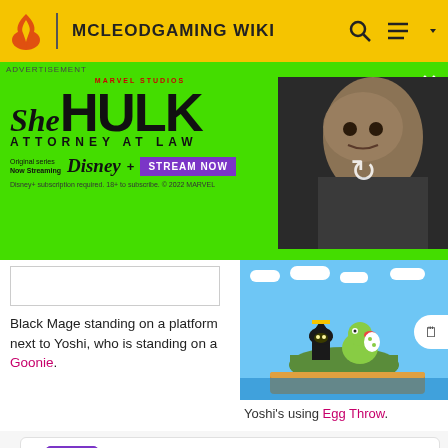MCLEODGAMING WIKI
[Figure (screenshot): She-Hulk Attorney at Law advertisement banner on green background with actress photo and Disney+ Stream Now button]
[Figure (screenshot): Pixel art game screenshot showing Black Mage and Yoshi characters on a platform over water]
Black Mage standing on a platform next to Yoshi, who is standing on a Goonie.
Yoshi's using Egg Throw.
We want your honest take on online discussions
SURVEY: ONLINE FORUMS